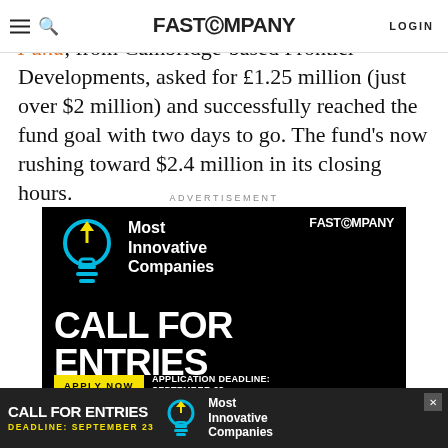FAST COMPANY — LOGIN
Kickstarter records. The Little Dangerous Fund, from Cambridge-based Frontier Developments, asked for £1.25 million (just over $2 million) and successfully reached the fund goal with two days to go. The fund's now rushing toward $2.4 million in its closing hours.
ADVERTISEMENT
[Figure (other): Fast Company advertisement banner — Most Innovative Companies, CALL FOR ENTRIES. Black background with cyan/yellow lightbulb icon. Apply Now button, Application Deadline: September 23.]
[Figure (other): Sticky bottom ad bar — Call for Entries, Deadline: September 23, Most Innovative Companies, with lightbulb icon and close button.]